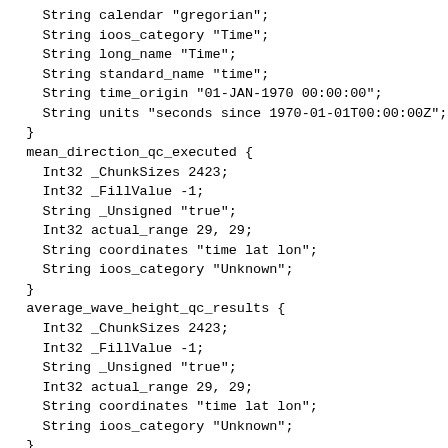String calendar "gregorian";
    String ioos_category "Time";
    String long_name "Time";
    String standard_name "time";
    String time_origin "01-JAN-1970 00:00:00";
    String units "seconds since 1970-01-01T00:00:00Z";
  }
  mean_direction_qc_executed {
    Int32 _ChunkSizes 2423;
    Int32 _FillValue -1;
    String _Unsigned "true";
    Int32 actual_range 29, 29;
    String coordinates "time lat lon";
    String ioos_category "Unknown";
  }
  average_wave_height_qc_results {
    Int32 _ChunkSizes 2423;
    Int32 _FillValue -1;
    String _Unsigned "true";
    Int32 actual_range 29, 29;
    String coordinates "time lat lon";
    String ioos_category "Unknown";
  }
}
  NC_GLOBAL {
    String AssetManagementRecordLastModified "2021-07